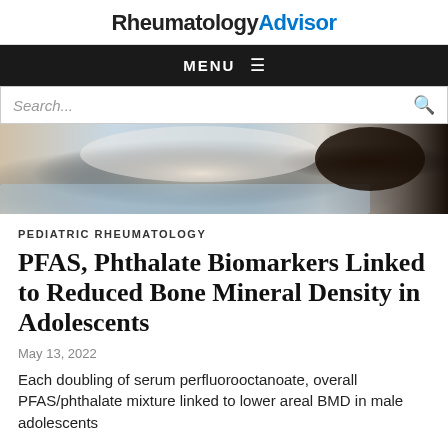RheumatologyAdvisor
MENU
Search...
[Figure (photo): A person lying on a medical examination table, wearing a white top, with dark hair, on a blue surface.]
PEDIATRIC RHEUMATOLOGY
PFAS, Phthalate Biomarkers Linked to Reduced Bone Mineral Density in Adolescents
May 13, 2022
Each doubling of serum perfluorooctanoate, overall PFAS/phthalate mixture linked to lower areal BMD in male adolescents